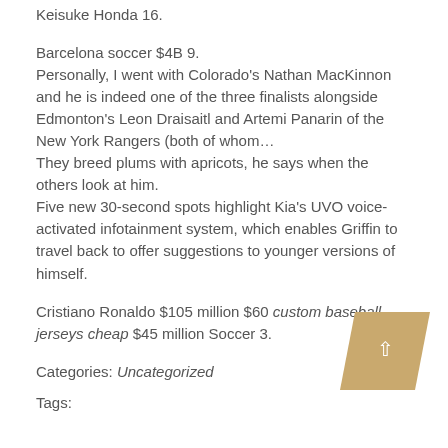Keisuke Honda 16.
Barcelona soccer $4B 9.
Personally, I went with Colorado's Nathan MacKinnon and he is indeed one of the three finalists alongside Edmonton's Leon Draisaitl and Artemi Panarin of the New York Rangers (both of whom…
They breed plums with apricots, he says when the others look at him.
Five new 30-second spots highlight Kia's UVO voice-activated infotainment system, which enables Griffin to travel back to offer suggestions to younger versions of himself.
Cristiano Ronaldo $105 million $60 custom baseball jerseys cheap $45 million Soccer 3.
Categories: Uncategorized
Tags: